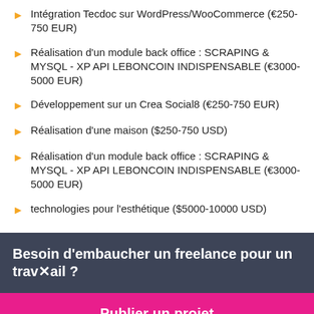Intégration Tecdoc sur WordPress/WooCommerce (€250-750 EUR)
Réalisation d'un module back office : SCRAPING & MYSQL - XP API LEBONCOIN INDISPENSABLE (€3000-5000 EUR)
Développement sur un Crea Social8 (€250-750 EUR)
Réalisation d'une maison ($250-750 USD)
Réalisation d'un module back office : SCRAPING & MYSQL - XP API LEBONCOIN INDISPENSABLE (€3000-5000 EUR)
technologies pour l'esthétique ($5000-10000 USD)
Besoin d'embaucher un freelance pour un travail ?
Publier un projet